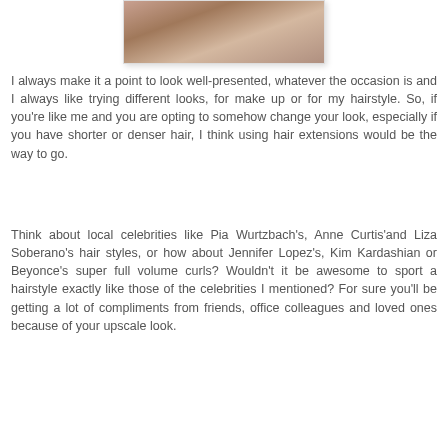[Figure (photo): Partial photo of a woman with long dark wavy hair wearing a pink outfit, cropped at top of page]
I always make it a point to look well-presented, whatever the occasion is and I always like trying different looks, for make up or for my hairstyle. So, if you're like me and you are opting to somehow change your look, especially if you have shorter or denser hair, I think using hair extensions would be the way to go.
Think about local celebrities like Pia Wurtzbach's, Anne Curtis'and Liza Soberano's hair styles, or how about Jennifer Lopez's, Kim Kardashian or Beyonce's super full volume curls? Wouldn't it be awesome to sport a hairstyle exactly like those of the celebrities I mentioned? For sure you'll be getting a lot of compliments from friends, office colleagues and loved ones because of your upscale look.